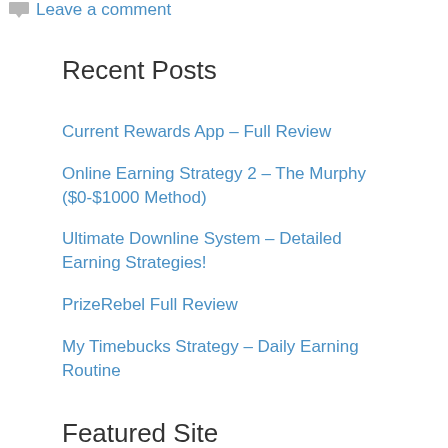Leave a comment
Recent Posts
Current Rewards App – Full Review
Online Earning Strategy 2 – The Murphy ($0-$1000 Method)
Ultimate Downline System – Detailed Earning Strategies!
PrizeRebel Full Review
My Timebucks Strategy – Daily Earning Routine
Featured Site